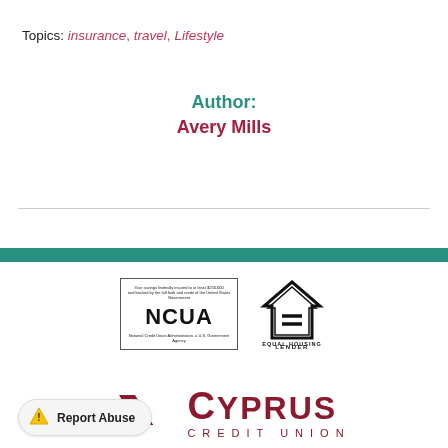Topics: insurance, travel, Lifestyle
Author:
Avery Mills
[Figure (logo): NCUA logo in a bordered box with text 'Your savings federally insured to at least $250,000 and backed by the full faith and credit of the United States Government' and 'National Credit Union Administration, a U.S. Government Agency']
[Figure (logo): Equal Housing Lender logo — house icon with equals sign inside, text 'EQUAL HOUSING LENDER']
[Figure (logo): Cyprus Credit Union logo — geometric diamond/shield shape in dark red, with 'CYPRUS' in large bold letters and 'CREDIT UNION' below in spaced letters, all in dark red]
Report Abuse